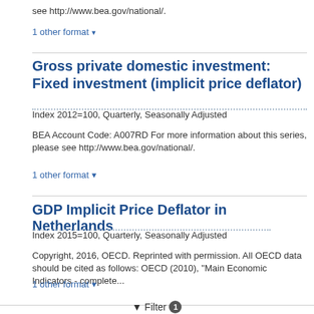see http://www.bea.gov/national/.
1 other format ▾
Gross private domestic investment: Fixed investment (implicit price deflator)
Index 2012=100, Quarterly, Seasonally Adjusted
BEA Account Code: A007RD For more information about this series, please see http://www.bea.gov/national/.
1 other format ▾
GDP Implicit Price Deflator in Netherlands
Index 2015=100, Quarterly, Seasonally Adjusted
Copyright, 2016, OECD. Reprinted with permission. All OECD data should be cited as follows: OECD (2010), "Main Economic Indicators - complete...
1 other format ▾
Filter 1